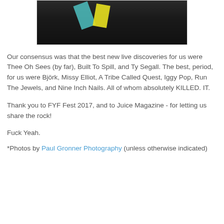[Figure (photo): Night-time festival photo showing people and colorful angular shapes/flags on a dark field, partially cropped at top]
Our consensus was that the best new live discoveries for us were Thee Oh Sees (by far), Built To Spill, and Ty Segall. The best, period, for us were Björk, Missy Elliot, A Tribe Called Quest, Iggy Pop, Run The Jewels, and Nine Inch Nails. All of whom absolutely KILLED. IT.
Thank you to FYF Fest 2017, and to Juice Magazine - for letting us share the rock!
Fuck Yeah.
*Photos by Paul Gronner Photography (unless otherwise indicated)